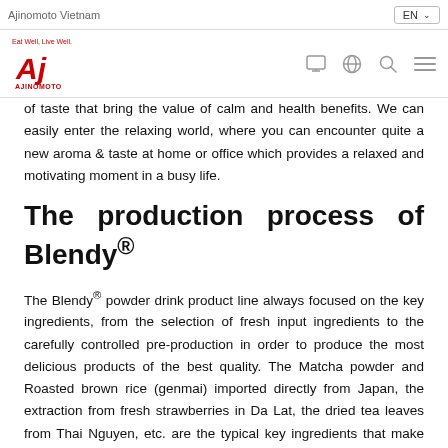Ajinomoto Vietnam
[Figure (logo): Ajinomoto logo with red stylized 'Aj' script and 'Eat Well, Live Well' tagline, plus navigation icons]
of taste that bring the value of calm and health benefits. We can easily enter the relaxing world, where you can encounter quite a new aroma & taste at home or office which provides a relaxed and motivating moment in a busy life.
The production process of Blendy®
The Blendy® powder drink product line always focused on the key ingredients, from the selection of fresh input ingredients to the carefully controlled pre-production in order to produce the most delicious products of the best quality. The Matcha powder and Roasted brown rice (genmai) imported directly from Japan, the extraction from fresh strawberries in Da Lat, the dried tea leaves from Thai Nguyen, etc. are the typical key ingredients that make up the delicious aroma of the products.
The unique key ingredients for each product will be mixed with other